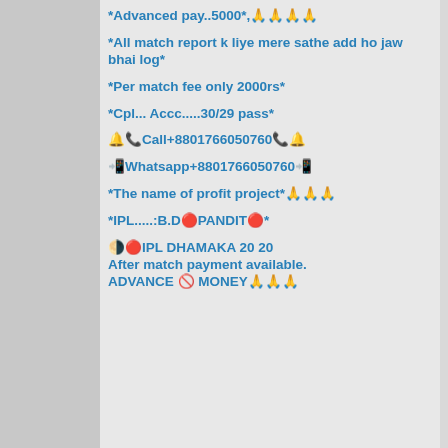*Advanced pay..5000*,🙏🙏🙏🙏
*All match report k liye mere sathe add ho jaw bhai log*
*Per match fee only 2000rs*
*Cpl... Accc.....30/29 pass*
🔔📞Call+8801766050760📞🔔
📲Whatsapp+8801766050760📲
*The name of profit project*🙏🙏🙏
*IPL.....:B.D🔴PANDIT🔴*
🌗🔴IPL DHAMAKA 20 20
After match payment available.
ADVANCE 🚫 MONEY🙏🙏🙏